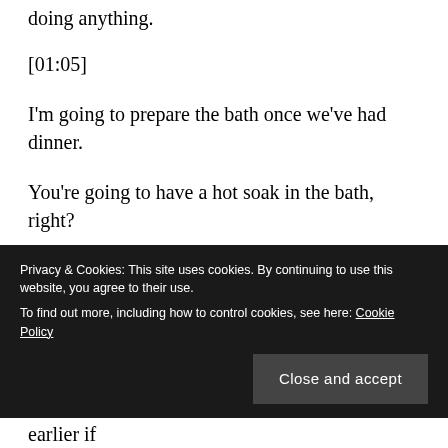doing anything.
[01:05]
I’m going to prepare the bath once we’ve had dinner.
You’re going to have a hot soak in the bath, right?
It’s alright. I’ll do it. I want to thank you for the stew. All I’ll be doing is pressing the hot water button though.
You’re going to wash the dishes? Why not just take
Privacy & Cookies: This site uses cookies. By continuing to use this website, you agree to their use. To find out more, including how to control cookies, see here: Cookie Policy
Close and accept
Well, I guess that’s alright. We can go to bed earlier if